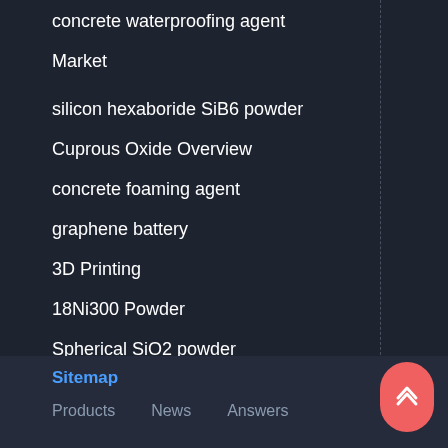concrete waterproofing agent
Market
silicon hexaboride SiB6 powder
Cuprous Oxide Overview
concrete foaming agent
graphene battery
3D Printing
18Ni300 Powder
Spherical SiO2 powder
Sitemap  Products  News  Answers